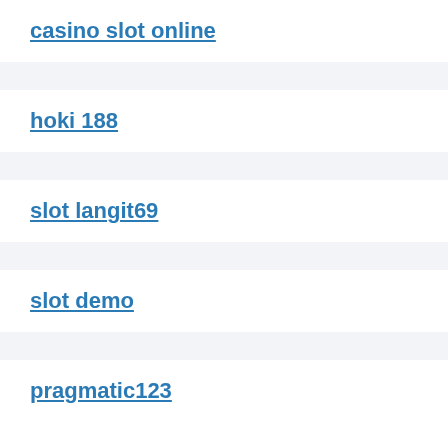casino slot online
hoki 188
slot langit69
slot demo
pragmatic123